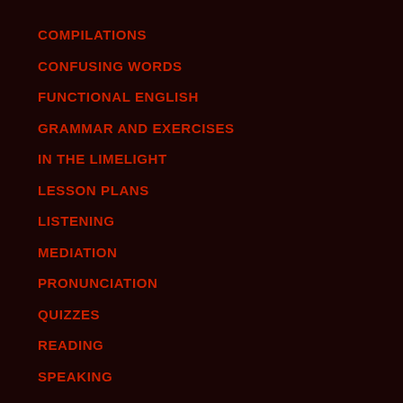COMPILATIONS
CONFUSING WORDS
FUNCTIONAL ENGLISH
GRAMMAR AND EXERCISES
IN THE LIMELIGHT
LESSON PLANS
LISTENING
MEDIATION
PRONUNCIATION
QUIZZES
READING
SPEAKING
TEACHING WITH SONGS
Tech Tips